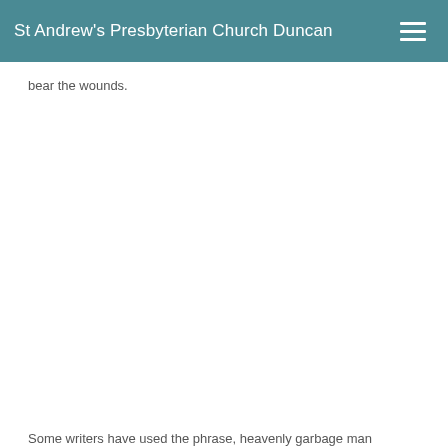St Andrew's Presbyterian Church Duncan
bear the wounds.
Some writers have used the phrase, heavenly garbage man